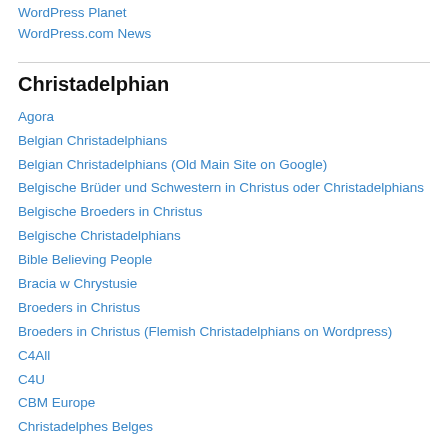WordPress Planet
WordPress.com News
Christadelphian
Agora
Belgian Christadelphians
Belgian Christadelphians (Old Main Site on Google)
Belgische Brüder und Schwestern in Christus oder Christadelphians
Belgische Broeders in Christus
Belgische Christadelphians
Bible Believing People
Bracia w Chrystusie
Broeders in Christus
Broeders in Christus (Flemish Christadelphians on Wordpress)
C4All
C4U
CBM Europe
Christadelphes Belges